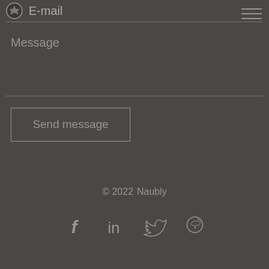E-mail
Message
Send message
© 2022 Naubly
[Figure (illustration): Social media icons: Facebook, LinkedIn, Twitter, GitHub]